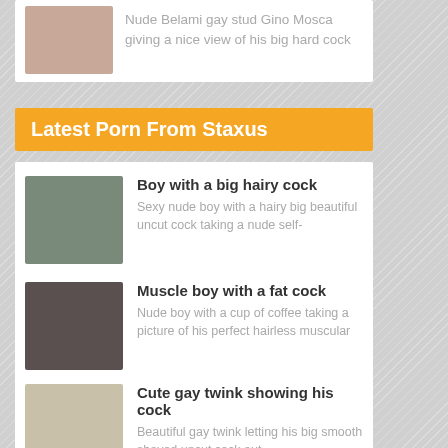Nude Belami gay stud Gino Mosca giving a nice view of his big hard cock
Latest Porn From Staxus
Boy with a big hairy cock — Sexy nude boy with a hairy big beautiful uncut cock taking a nude self-
Muscle boy with a fat cock — Nude boy with a cup of coffee taking a picture of his perfect hairless muscular
Cute gay twink showing his cock — Beautiful gay twink letting his big smooth shaved uncut cock out
Gay boy sucking big uncut cock — Hot nude boy having some fun with a very big gorgeous uncut cock
Fo... (partial, cut off)